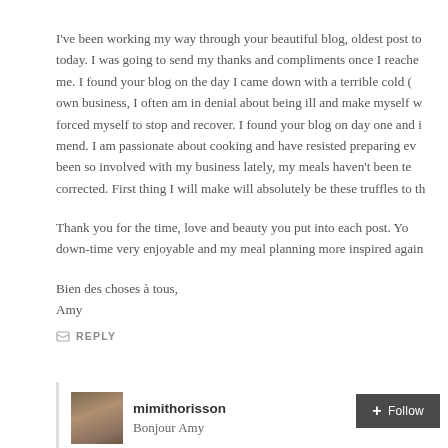I've been working my way through your beautiful blog, oldest post to today. I was going to send my thanks and compliments once I reached me. I found your blog on the day I came down with a terrible cold ( own business, I often am in denial about being ill and make myself w forced myself to stop and recover. I found your blog on day one and i mend. I am passionate about cooking and have resisted preparing ev been so involved with my business lately, my meals haven't been te corrected. First thing I will make will absolutely be these truffles to th
Thank you for the time, love and beauty you put into each post. Yo down-time very enjoyable and my meal planning more inspired again
Bien des choses à tous,
Amy
REPLY
mimithorisson
Bonjour Amy